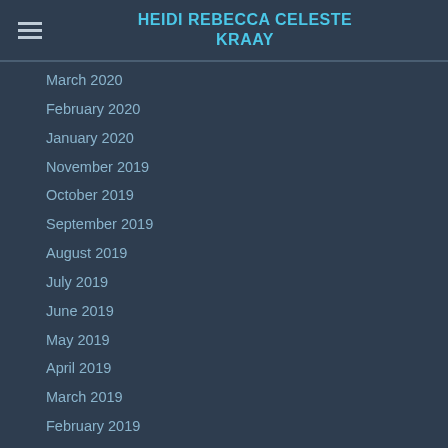HEIDI REBECCA CELESTE KRAAY
March 2020
February 2020
January 2020
November 2019
October 2019
September 2019
August 2019
July 2019
June 2019
May 2019
April 2019
March 2019
February 2019
January 2019
December 2018
November 2018
October 2018
September 2018
August 2018